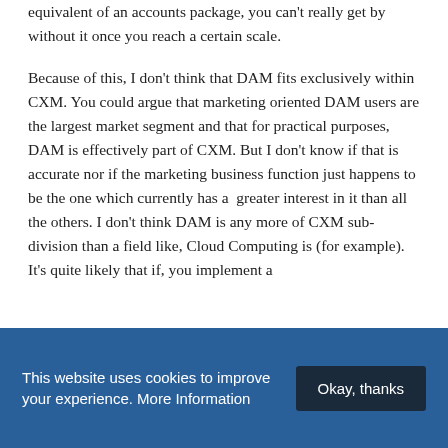equivalent of an accounts package, you can't really get by without it once you reach a certain scale.
Because of this, I don't think that DAM fits exclusively within CXM.  You could argue that marketing oriented DAM users are the largest market segment and that for practical purposes, DAM is effectively part of CXM.  But I don't know if that is accurate nor if the marketing business function just happens to be the one which currently has a  greater interest in it than all the others.  I don't think DAM is any more of CXM sub-division than a field like, Cloud Computing is (for example).  It's quite likely that if, you implement a
This website uses cookies to improve your experience. More Information   Okay, thanks